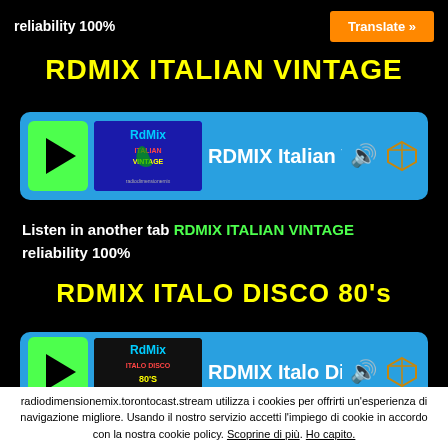reliability 100%   Translate »
RDMIX ITALIAN VINTAGE
[Figure (screenshot): Radio player widget with green play button, station image showing RdMix Italian Vintage logo on blue background, station name RDMIX Italian Vi, volume icon, cube icon]
Listen in another tab RDMIX ITALIAN VINTAGE reliability 100%
RDMIX ITALO DISCO 80's
[Figure (screenshot): Radio player widget with green play button, station image showing RdMix Italo Disco 80s logo on dark background, station name RDMIX Italo Dis, volume icon, cube icon]
radiodimensionemix.torontocast.stream utilizza i cookies per offrirti un'esperienza di navigazione migliore. Usando il nostro servizio accetti l'impiego di cookie in accordo con la nostra cookie policy. Scoprine di più. Ho capito.